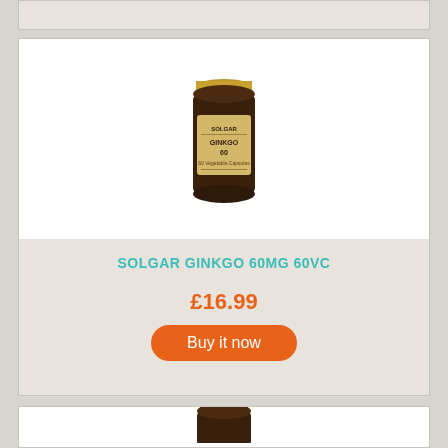[Figure (photo): Solgar Ginkgo 60mg supplement bottle - dark amber glass jar with gold lid and label]
SOLGAR GINKGO 60MG 60VC
£16.99
Buy it now
[Figure (photo): Partial view of another Solgar supplement bottle - dark amber glass jar, partially cut off at bottom of page]